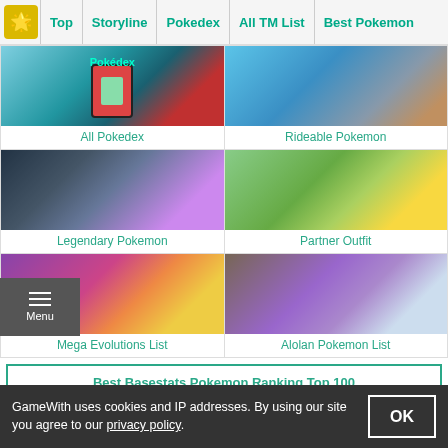Top | Storyline | Pokedex | All TM List | Best Pokemon
[Figure (screenshot): All Pokedex thumbnail image showing a red Pokedex device on a blue background]
All Pokedex
[Figure (screenshot): Rideable Pokemon thumbnail showing a Pokemon riding scene underwater or near water]
Rideable Pokemon
[Figure (screenshot): Legendary Pokemon thumbnail showing Mewtwo and other legendary Pokemon in battle scene]
Legendary Pokemon
[Figure (screenshot): Partner Outfit thumbnail showing Pikachu in hat with a trainer in a green outdoor area]
Partner Outfit
[Figure (screenshot): Mega Evolutions List thumbnail showing a colorful mega evolution battle scene]
Mega Evolutions List
[Figure (screenshot): Alolan Pokemon List thumbnail showing a white Alolan Pokemon in a purple scene]
Alolan Pokemon List
Best Basestats Pokemon Ranking Top 100
Pokemon List Per Type
GameWith uses cookies and IP addresses. By using our site you agree to our privacy policy.
OK